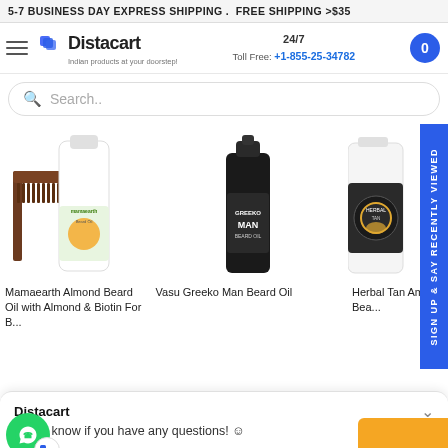5-7 BUSINESS DAY EXPRESS SHIPPING . FREE SHIPPING >$35
[Figure (screenshot): Distacart website header with logo, 24/7 toll free number +1-855-25-34782, and cart button]
Search..
[Figure (photo): Mamaearth Almond Beard Oil product with comb and bottle]
[Figure (photo): Vasu Greeko Man Beard Oil black bottle with pump]
[Figure (photo): Herbal Tan Amber partial product visible]
Mamaearth Almond Beard Oil with Almond & Biotin For B...
Vasu Greeko Man Beard Oil
Herbal Tan Amber Bea...
Distacart
Let us know if you have any questions! 😊